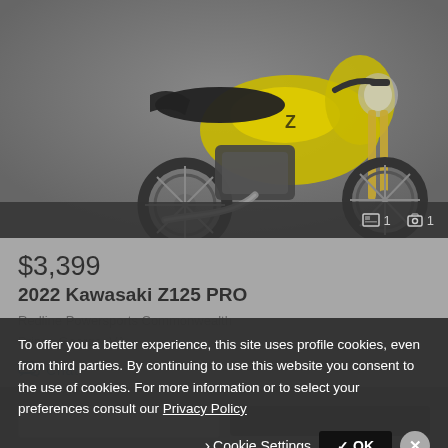[Figure (photo): Yellow and black 2022 Kawasaki Z125 PRO motorcycle on a grey background. Partial view showing front wheel, handlebars with gold forks, engine, exhaust, and rear section.]
$3,399
2022 Kawasaki Z125 PRO
Redline Powersports Commonwealth
Prince George, VA
Chat
To offer you a better experience, this site uses profile cookies, even from third parties. By continuing to use this website you consent to the use of cookies. For more information or to select your preferences consult our Privacy Policy
Cookie Settings
✓ OK